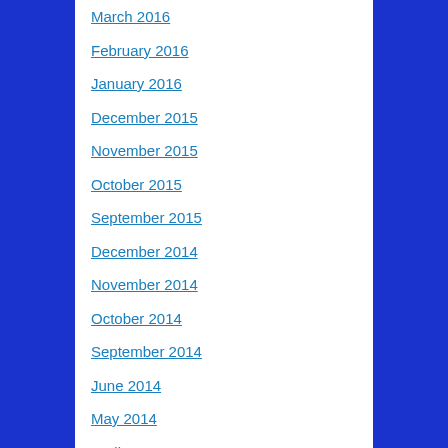March 2016
February 2016
January 2016
December 2015
November 2015
October 2015
September 2015
December 2014
November 2014
October 2014
September 2014
June 2014
May 2014
April 2014
March 2014
February 2014
January 2014